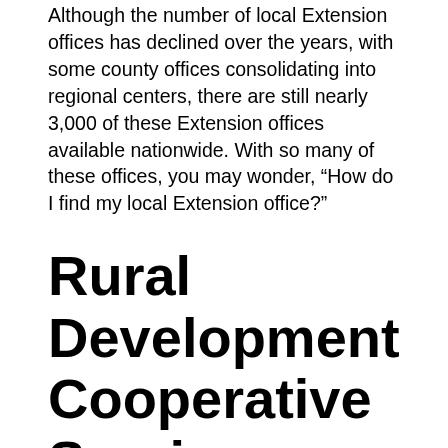Although the number of local Extension offices has declined over the years, with some county offices consolidating into regional centers, there are still nearly 3,000 of these Extension offices available nationwide. With so many of these offices, you may wonder, “How do I find my local Extension office?”
Rural Development Cooperative Services
Rural Development’s Cooperative Services Program promotes understanding and use of the cooperatives to market and distribute agricultural products. The Cooperative Services division serves cooperative